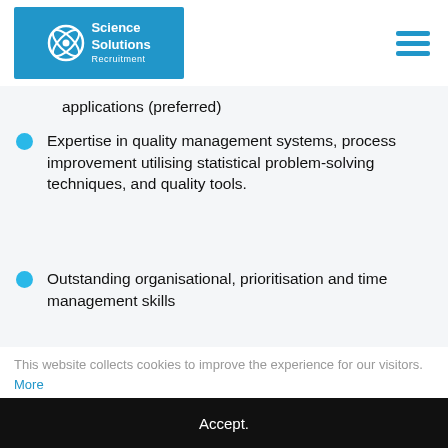Science Solutions Recruitment
applications (preferred)
Expertise in quality management systems, process improvement utilising statistical problem-solving techniques, and quality tools.
Outstanding organisational, prioritisation and time management skills
Experience in a manufacturing environment -
This website collects cookies to improve the experience for our visitors. More
Accept.